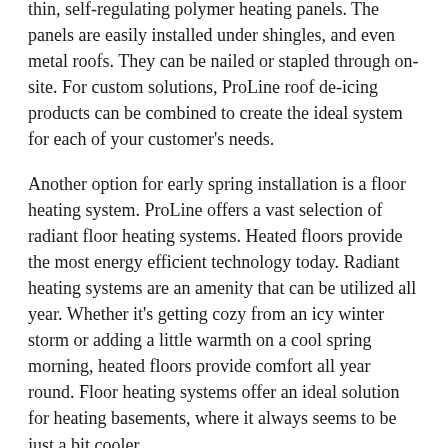thin, self-regulating polymer heating panels. The panels are easily installed under shingles, and even metal roofs. They can be nailed or stapled through on-site. For custom solutions, ProLine roof de-icing products can be combined to create the ideal system for each of your customer's needs.
Another option for early spring installation is a floor heating system. ProLine offers a vast selection of radiant floor heating systems. Heated floors provide the most energy efficient technology today. Radiant heating systems are an amenity that can be utilized all year. Whether it's getting cozy from an icy winter storm or adding a little warmth on a cool spring morning, heated floors provide comfort all year round. Floor heating systems offer an ideal solution for heating basements, where it always seems to be just a bit cooler.
Radiant floor heating systems offer several benefits. Allergens and pollens run high this time of year, causing discomfort and health issues. Radiant heat systems don't blow dust and allergens from the vents throughout the house like traditional